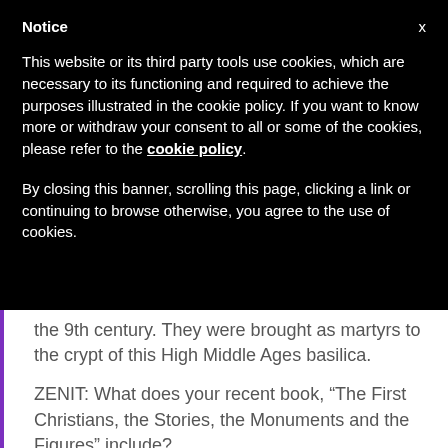Notice
This website or its third party tools use cookies, which are necessary to its functioning and required to achieve the purposes illustrated in the cookie policy. If you want to know more or withdraw your consent to all or some of the cookies, please refer to the cookie policy.
By closing this banner, scrolling this page, clicking a link or continuing to browse otherwise, you agree to the use of cookies.
the 9th century. They were brought as martyrs to the crypt of this High Middle Ages basilica.
ZENIT: What does your recent book, “The First Christians, the Stories, the Monuments and the Figures” include?